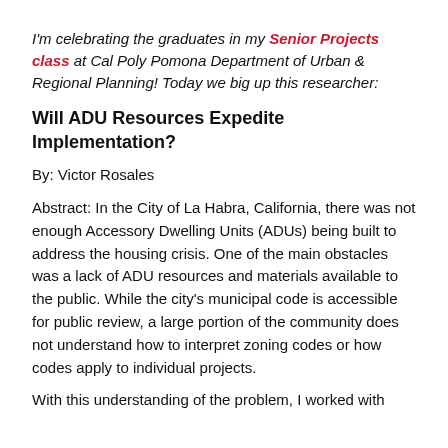I'm celebrating the graduates in my Senior Projects class at Cal Poly Pomona Department of Urban & Regional Planning! Today we big up this researcher:
Will ADU Resources Expedite Implementation?
By: Victor Rosales
Abstract: In the City of La Habra, California, there was not enough Accessory Dwelling Units (ADUs) being built to address the housing crisis. One of the main obstacles was a lack of ADU resources and materials available to the public. While the city's municipal code is accessible for public review, a large portion of the community does not understand how to interpret zoning codes or how codes apply to individual projects.
With this understanding of the problem, I worked with